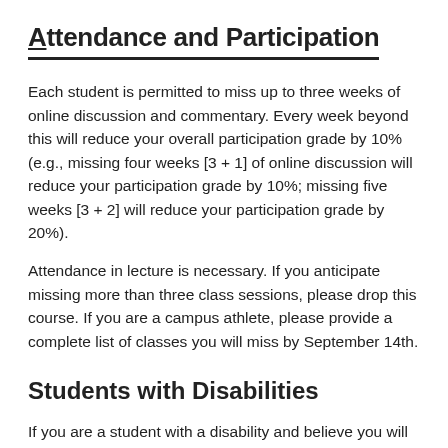Attendance and Participation
Each student is permitted to miss up to three weeks of online discussion and commentary. Every week beyond this will reduce your overall participation grade by 10% (e.g., missing four weeks [3 + 1] of online discussion will reduce your participation grade by 10%; missing five weeks [3 + 2] will reduce your participation grade by 20%).
Attendance in lecture is necessary. If you anticipate missing more than three class sessions, please drop this course. If you are a campus athlete, please provide a complete list of classes you will miss by September 14th.
Students with Disabilities
If you are a student with a disability and believe you will need accommodations for this class, it is your